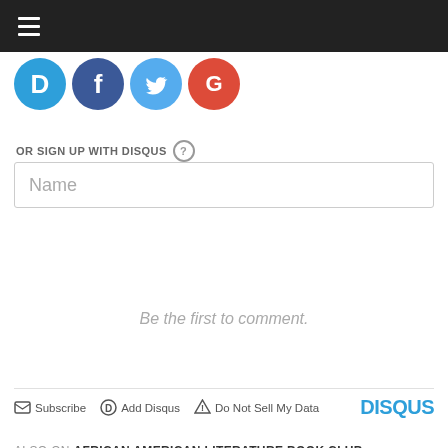[Figure (screenshot): Top navigation bar with hamburger menu icon (three white lines) on dark/black background]
[Figure (infographic): Four social login icons: Disqus (blue D), Facebook (dark blue F), Twitter (light blue bird), Google (red G)]
OR SIGN UP WITH DISQUS ?
[Figure (screenshot): Name text input field with placeholder text 'Name']
Be the first to comment.
Subscribe   Add Disqus   Do Not Sell My Data   DISQUS
ALSO ON AFRICAN AMERICAN LITERATURE BOOK CLUB